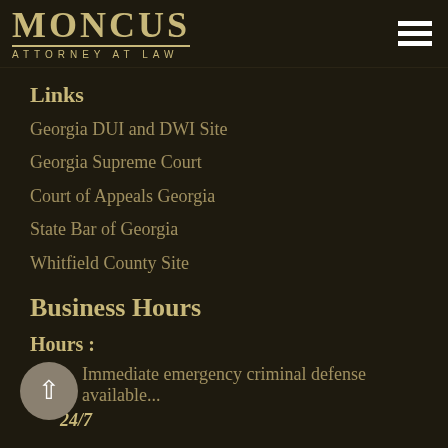MONCUS ATTORNEY AT LAW
Links
Georgia DUI and DWI Site
Georgia Supreme Court
Court of Appeals Georgia
State Bar of Georgia
Whitfield County Site
Business Hours
Hours :
Immediate emergency criminal defense available...
24/7